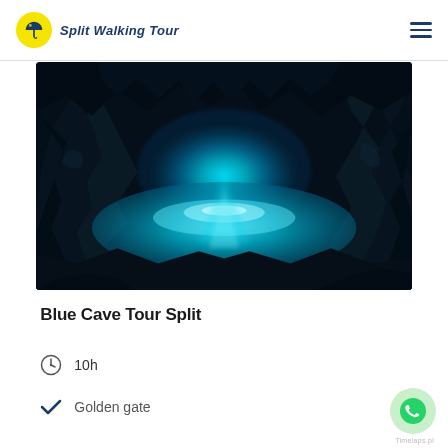Split Walking Tour
[Figure (photo): Interior of the Blue Cave with vivid blue glowing water surrounded by dark rocky walls, viewed from inside the cave looking toward the entrance.]
Blue Cave Tour Split
10h
Golden gate